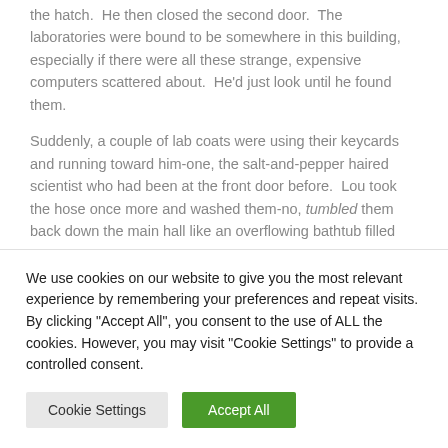the hatch.  He then closed the second door.  The laboratories were bound to be somewhere in this building, especially if there were all these strange, expensive computers scattered about.  He'd just look until he found them.
Suddenly, a couple of lab coats were using their keycards and running toward him-one, the salt-and-pepper haired scientist who had been at the front door before.  Lou took the hose once more and washed them-no, tumbled them back down the main hall like an overflowing bathtub filled
We use cookies on our website to give you the most relevant experience by remembering your preferences and repeat visits. By clicking "Accept All", you consent to the use of ALL the cookies. However, you may visit "Cookie Settings" to provide a controlled consent.